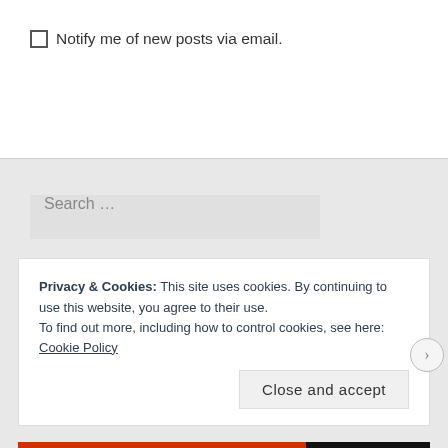Notify me of new posts via email.
Search ...
RECENT POSTS
Pure Blue Japan x Blue Owl Workshop PBO-001: The Beginning
Privacy & Cookies: This site uses cookies. By continuing to use this website, you agree to their use.
To find out more, including how to control cookies, see here: Cookie Policy
Close and accept